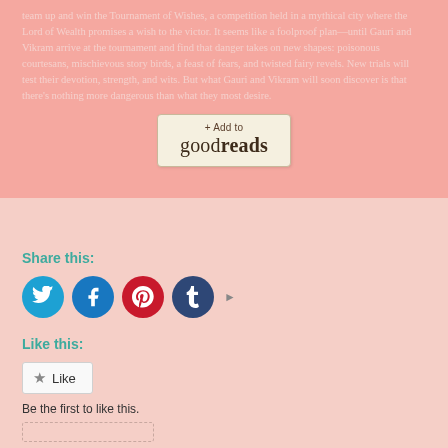team up and win the Tournament of Wishes, a competition held in a mythical city where the Lord of Wealth promises a wish to the victor. It seems like a foolproof plan—until Gauri and Vikram arrive at the tournament and find that danger takes on new shapes: poisonous courtesans, mischievous story birds, a feast of fears, and twisted fairy revels. New trials will test their devotion, strength, and wits. But what Gauri and Vikram will soon discover is that there's nothing more dangerous than what they most desire.
[Figure (other): Goodreads '+ Add to goodreads' button — a rectangular button with beige/cream background and border, showing '+ Add to' text above the word 'goodreads' in large serif font.]
Share this:
[Figure (other): Row of four social media icon circles: Twitter (blue), Facebook (blue), Pinterest (red), Tumblr (dark navy), followed by a right-pointing arrow for more options.]
Like this:
[Figure (other): A 'Like' button with a star icon and the text 'Like'.]
Be the first to like this.
[Figure (other): A dashed-border rectangle at the bottom, partially visible.]